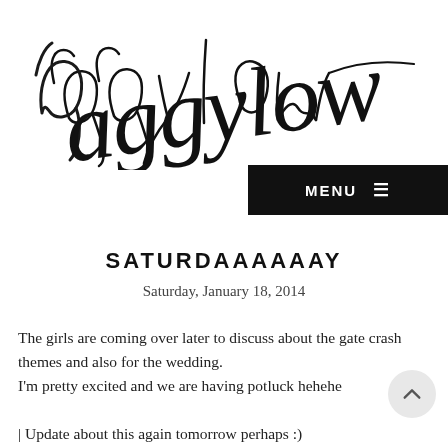[Figure (logo): Handwritten cursive signature/logo reading 'aggylow' in black ink on white background]
MENU ≡
SATURDAAAAAAY
Saturday, January 18, 2014
The girls are coming over later to discuss about the gate crash themes and also for the wedding.
I'm pretty excited and we are having potluck hehehe
| Update about this again tomorrow perhaps :)